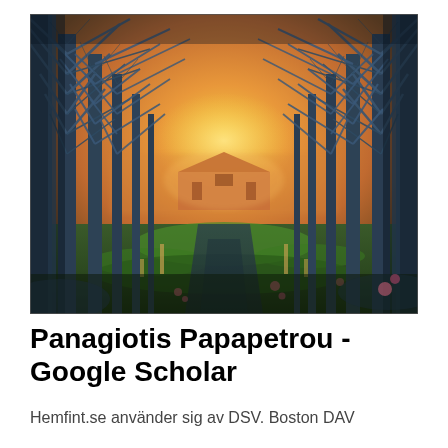[Figure (photo): Outdoor landscape photograph showing a tree-lined path or alley with bare winter trees forming a natural tunnel. In the background there is a red barn or farm building in warm golden/orange light. The foreground shows green grass, fence posts, and the path receding to the center. The image has vivid teal/blue tones on the trees contrasting with warm orange sky and golden light.]
Panagiotis Papapetrou - Google Scholar
Hemfint.se använder sig av DSV. Boston DAV